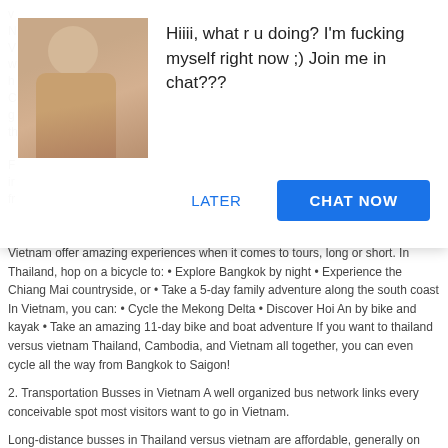[Figure (screenshot): Pop-up chat advertisement overlay on a travel blog article about Thailand and Vietnam. The overlay contains a photo, a suggestive message, and two buttons: LATER and CHAT NOW.]
Hiiii, what r u doing? I'm fucking myself right now ;) Join me in chat???
Vietnam offer amazing experiences when it comes to tours, long or short. In Thailand, hop on a bicycle to: • Explore Bangkok by night • Experience the Chiang Mai countryside, or • Take a 5-day family adventure along the south coast In Vietnam, you can: • Cycle the Mekong Delta • Discover Hoi An by bike and kayak • Take an amazing 11-day bike and boat adventure If you want to thailand versus vietnam Thailand, Cambodia, and Vietnam all together, you can even cycle all the way from Bangkok to Saigon!
2. Transportation Busses in Vietnam A well organized bus network links every conceivable spot most visitors want to go in Vietnam.
Long-distance busses in Thailand versus vietnam are affordable, generally on time, and somewhat comfortable.
Journeys longer than a few hours are usually in a sleeper-style bus, where you can (almost) stretch out on a bunk and might even get some sleep. Nightmare tales of dangerous drivers and filthy busses are mostly a thing of the past — now busses are, if not luxurious, a reliable way get around Vietnam. Trains in Vietnam There is a single train line in Vietnam that starts in the far north and winds its way down along the east coast, turning inland to end up in Ho Chi Minh city.